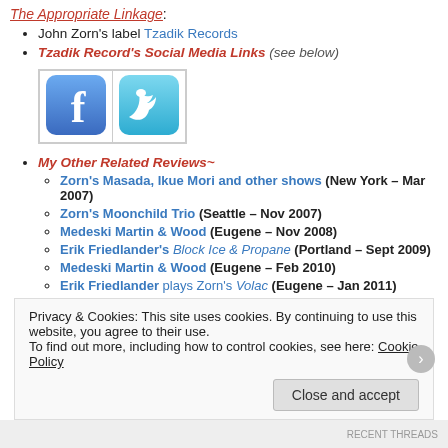The Appropriate Linkage:
John Zorn's label Tzadik Records
Tzadik Record's Social Media Links (see below)
[Figure (illustration): Facebook and Twitter social media icons side by side in a bordered box]
My Other Related Reviews~
Zorn's Masada, Ikue Mori and other shows (New York – Mar 2007)
Zorn's Moonchild Trio (Seattle – Nov 2007)
Medeski Martin & Wood (Eugene – Nov 2008)
Erik Friedlander's Block Ice & Propane (Portland – Sept 2009)
Medeski Martin & Wood (Eugene – Feb 2010)
Erik Friedlander plays Zorn's Volac (Eugene – Jan 2011)
Walker Art Center's Site / Facebook / Twitter
Privacy & Cookies: This site uses cookies. By continuing to use this website, you agree to their use. To find out more, including how to control cookies, see here: Cookie Policy
Close and accept